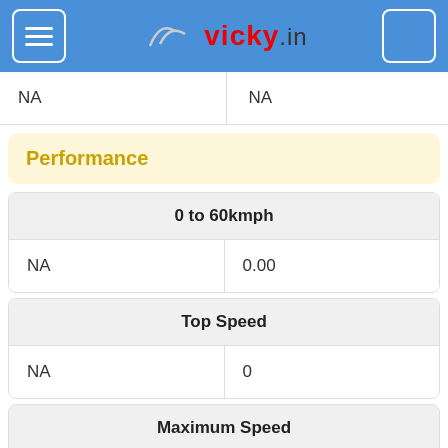vicky.in
| NA | NA |
| --- | --- |
Performance
| 0 to 60kmph |
| --- |
| NA | 0.00 |
| Top Speed |
| --- |
| NA | 0 |
| Maximum Speed |
| --- |
| 73 | NA |